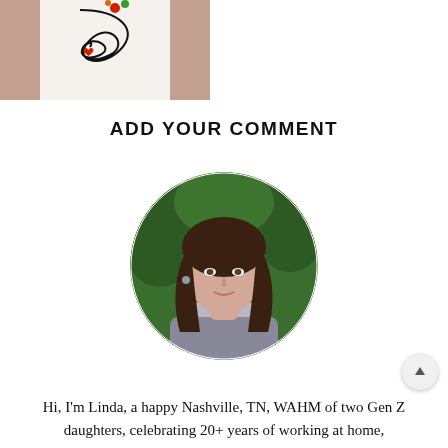[Figure (photo): Partial view of a decorative card with a black swirling design and colorful heart-shaped elements on a light background, cropped at top-left corner of the page.]
ADD YOUR COMMENT
[Figure (photo): Circular portrait photo of a woman named Linda with long brown hair, smiling, wearing a patterned top, with green foliage in the background.]
Hi, I'm Linda, a happy Nashville, TN, WAHM of two Gen Z daughters, celebrating 20+ years of working at home,